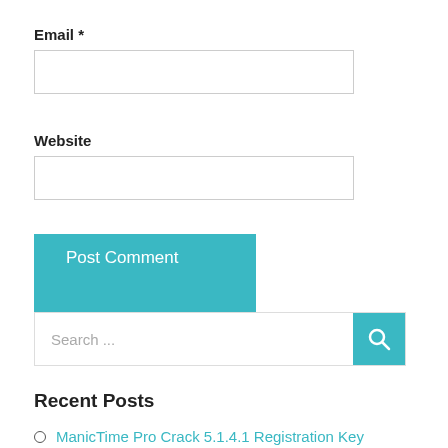Email *
[Figure (other): Email input text field (empty)]
Website
[Figure (other): Website input text field (empty)]
Post Comment
[Figure (other): Search bar with placeholder 'Search ...' and teal search button with magnifying glass icon]
Recent Posts
ManicTime Pro Crack 5.1.4.1 Registration Key